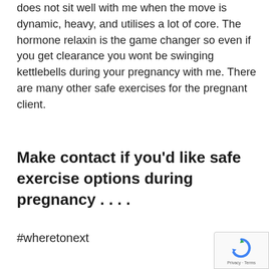does not sit well with me when the move is dynamic, heavy, and utilises a lot of core.  The hormone relaxin is the game changer so even if you get clearance you wont be swinging kettlebells during your pregnancy with me.  There are many other safe exercises for the pregnant client.
Make contact if you'd like safe exercise options during pregnancy . . . .
#wheretonext